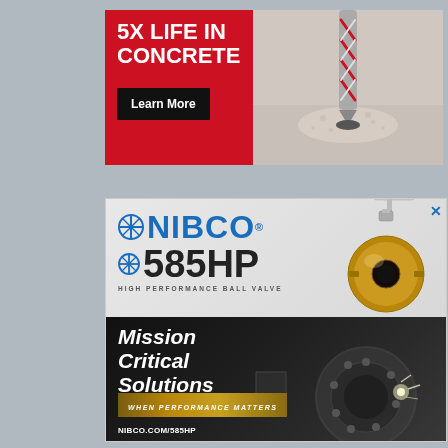[Figure (photo): Advertisement showing a drill bit drilling into concrete on a red background with 'Learn More' button. Text reads '5X LIFE IN CONCRETE'.]
[Figure (photo): NIBCO 585HP High Performance Ball Valve advertisement. Top section shows NIBCO logo and brass ball valve photo on grey background. Bottom section shows dark industrial machinery background with text 'Mission Critical Solutions', 'WHEN PERFORMANCE MATTERS', and 'NIBCO.COM/585HP'.]